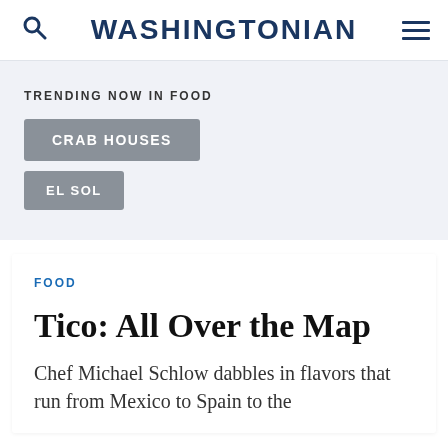WASHINGTONIAN
TRENDING NOW IN FOOD
CRAB HOUSES
EL SOL
FOOD
Tico: All Over the Map
Chef Michael Schlow dabbles in flavors that run from Mexico to Spain to the